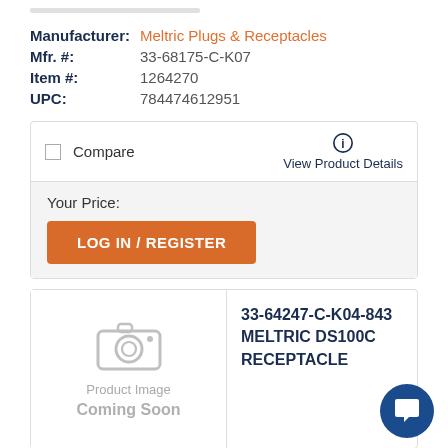Manufacturer: Meltric Plugs & Receptacles
Mfr. #: 33-68175-C-K07
Item #: 1264270
UPC: 784474612951
Compare
View Product Details
Your Price:
LOG IN / REGISTER
[Figure (photo): Product Image Coming Soon placeholder with camera icon]
33-64247-C-K04-843 MELTRIC DS100C RECEPTACLE